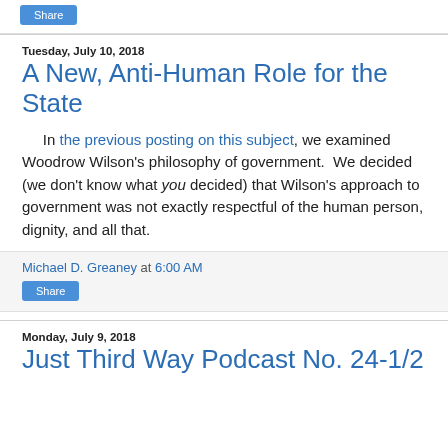Share
Tuesday, July 10, 2018
A New, Anti-Human Role for the State
In the previous posting on this subject, we examined Woodrow Wilson's philosophy of government. We decided (we don't know what you decided) that Wilson's approach to government was not exactly respectful of the human person, dignity, and all that.
Michael D. Greaney at 6:00 AM
Share
Monday, July 9, 2018
Just Third Way Podcast No. 24-1/2